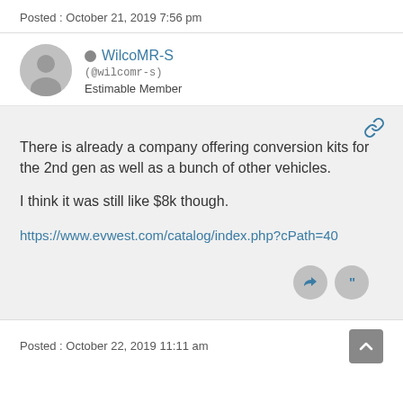Posted : October 21, 2019 7:56 pm
WilcoMR-S
(@wilcomr-s)
Estimable Member
There is already a company offering conversion kits for the 2nd gen as well as a bunch of other vehicles.

I think it was still like $8k though.

https://www.evwest.com/catalog/index.php?cPath=40
Posted : October 22, 2019 11:11 am